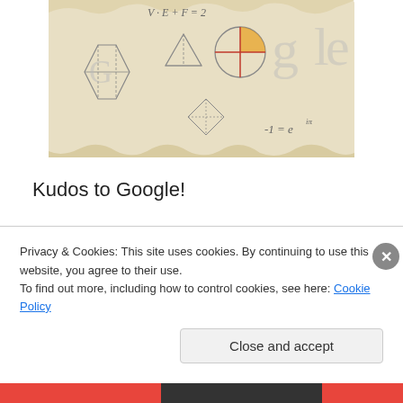[Figure (illustration): Google Doodle for Leonhard Euler's 306th birthday, drawn in a sketch/parchment style showing mathematical concepts including polyhedra, geometric shapes, a circle with lines, and the Google logo letters rendered as mathematical drawings. Text includes 'V-E+F=2' and '-1=e^(iπ)'.]
Kudos to Google!
Today marks the 306th birthday of Leonhard Euler and, thanks to Google, millions of non-math people are being exposed to some of his incredible achievements through this great doodle.
Privacy & Cookies: This site uses cookies. By continuing to use this website, you agree to their use.
To find out more, including how to control cookies, see here: Cookie Policy
Close and accept